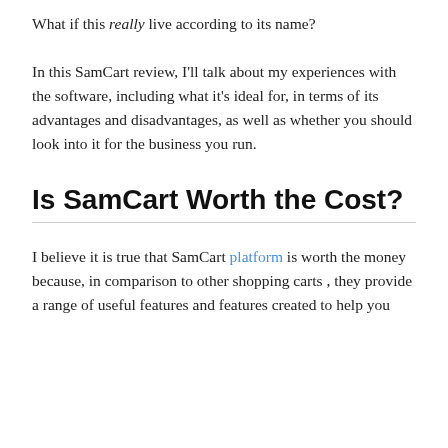What if this really live according to its name?
In this SamCart review, I'll talk about my experiences with the software, including what it's ideal for, in terms of its advantages and disadvantages, as well as whether you should look into it for the business you run.
Is SamCart Worth the Cost?
I believe it is true that SamCart platform is worth the money because, in comparison to other shopping carts , they provide a range of useful features and features created to help you